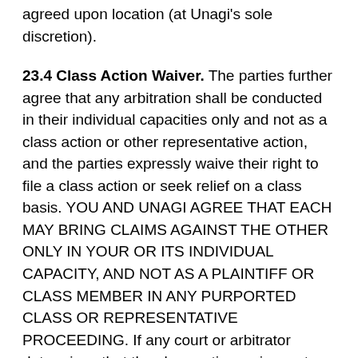agreed upon location (at Unagi's sole discretion).
23.4 Class Action Waiver. The parties further agree that any arbitration shall be conducted in their individual capacities only and not as a class action or other representative action, and the parties expressly waive their right to file a class action or seek relief on a class basis. YOU AND UNAGI AGREE THAT EACH MAY BRING CLAIMS AGAINST THE OTHER ONLY IN YOUR OR ITS INDIVIDUAL CAPACITY, AND NOT AS A PLAINTIFF OR CLASS MEMBER IN ANY PURPORTED CLASS OR REPRESENTATIVE PROCEEDING. If any court or arbitrator determines that the class action waiver set forth in this paragraph is void or unenforceable for any reason or that an arbitration can proceed on a class basis, then the arbitration provision set forth